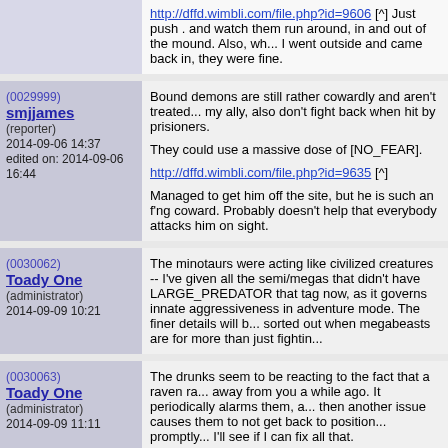http://dffd.wimbli.com/file.php?id=9606 [^] Just push . and watch them run around, in and out of the mound. Also, wh... I went outside and came back in, they were fine.
(0029999) smjjames (reporter) 2014-09-06 14:37 edited on: 2014-09-06 16:44
Bound demons are still rather cowardly and aren't treated... my ally, also don't fight back when hit by prisioners.

They could use a massive dose of [NO_FEAR].

http://dffd.wimbli.com/file.php?id=9635 [^]

Managed to get him off the site, but he is such an f'ng coward. Probably doesn't help that everybody attacks him on sight.
(0030062) Toady One (administrator) 2014-09-09 10:21
The minotaurs were acting like civilized creatures -- I've given all the semi/megas that didn't have LARGE_PREDATOR that tag now, as it governs innate aggressiveness in adventure mode. The finer details will b... sorted out when megabeasts are for more than just fightin...
(0030063) Toady One (administrator) 2014-09-09 11:11
The drunks seem to be reacting to the fact that a raven ra... away from you a while ago. It periodically alarms them, a... then another issue causes them to not get back to position... promptly... I'll see if I can fix all that.